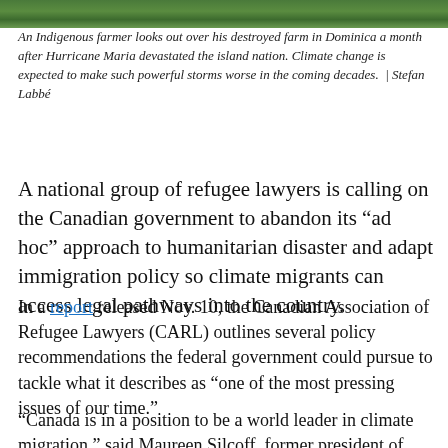[Figure (photo): Strip of green foliage/farm vegetation at the top of the page]
An Indigenous farmer looks out over his destroyed farm in Dominica a month after Hurricane Maria devastated the island nation. Climate change is expected to make such powerful storms worse in the coming decades.  |  Stefan Labbé
A national group of refugee lawyers is calling on the Canadian government to abandon its “ad hoc” approach to humanitarian disaster and adapt immigration policy so climate migrants can access legal pathways into the country.
In a report released Nov. 10, the Canadian Association of Refugee Lawyers (CARL) outlines several policy recommendations the federal government could pursue to tackle what it describes as “one of the most pressing issues of our time.”
“Canada is in a position to be a world leader in climate migration,” said Maureen Silcoff, former president of CARL and a Toronto-based immigrant and refugee lawyer. “We